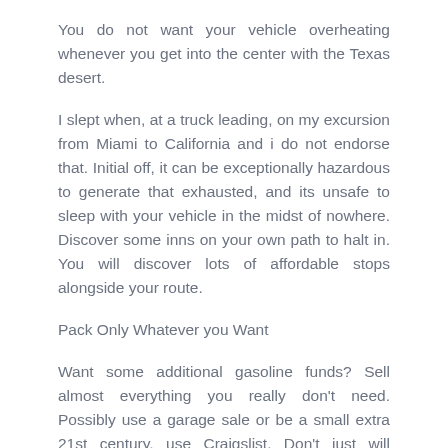You do not want your vehicle overheating whenever you get into the center with the Texas desert.
I slept when, at a truck leading, on my excursion from Miami to California and i do not endorse that. Initial off, it can be exceptionally hazardous to generate that exhausted, and its unsafe to sleep with your vehicle in the midst of nowhere. Discover some inns on your own path to halt in. You will discover lots of affordable stops alongside your route.
Pack Only Whatever you Want
Want some additional gasoline funds? Sell almost everything you really don't need. Possibly use a garage sale or be a small extra 21st century, use Craigslist. Don't just will you've got some extra funds to invest on your own ride, but you are going to have got a significantly less major auto. Lighter motor vehicles